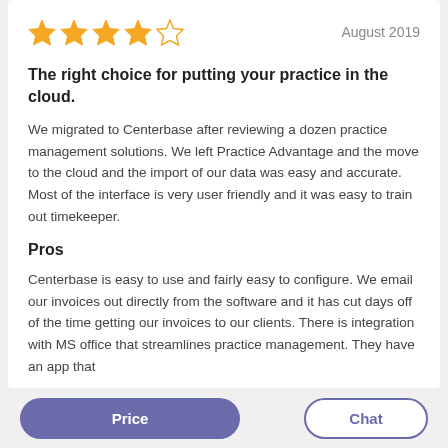[Figure (other): 4 out of 5 orange stars rating]
August 2019
The right choice for putting your practice in the cloud.
We migrated to Centerbase after reviewing a dozen practice management solutions. We left Practice Advantage and the move to the cloud and the import of our data was easy and accurate. Most of the interface is very user friendly and it was easy to train out timekeeper.
Pros
Centerbase is easy to use and fairly easy to configure. We email our invoices out directly from the software and it has cut days off of the time getting our invoices to our clients. There is integration with MS office that streamlines practice management. They have an app that